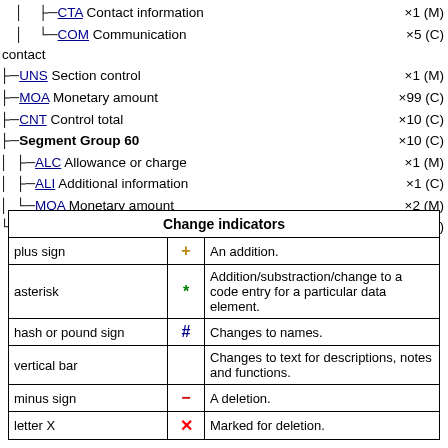├─CTA Contact information ×1 (M)
└─COM Communication ×5 (C) contact
├─UNS Section control ×1 (M)
├─MOA Monetary amount ×99 (C)
├─CNT Control total ×10 (C)
├─Segment Group 60 ×10 (C)
├─ALC Allowance or charge ×1 (M)
├─ALI Additional information ×1 (C)
└─MOA Monetary amount ×2 (M)
└─UNT Message trailer ×1 (M)
| Change indicators |  |  |
| --- | --- | --- |
| plus sign | + | An addition. |
| asterisk | * | Addition/substraction/change to a code entry for a particular data element. |
| hash or pound sign | # | Changes to names. |
| vertical bar | | | Changes to text for descriptions, notes and functions. |
| minus sign | − | A deletion. |
| letter X | X | Marked for deletion. |